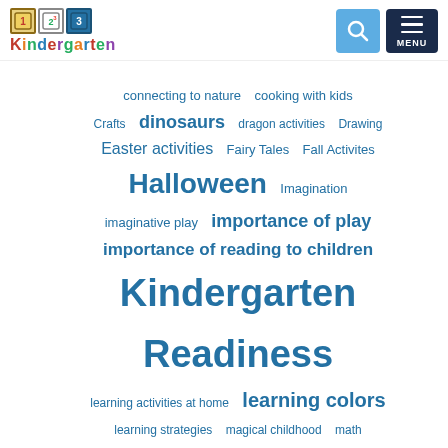[Figure (logo): 123 Kindergarten logo with colored blocks and multicolor text]
[Figure (infographic): Word cloud of educational topics including Kindergarten Readiness, Halloween, learning colors, and many others in varying font sizes, all in blue tones]